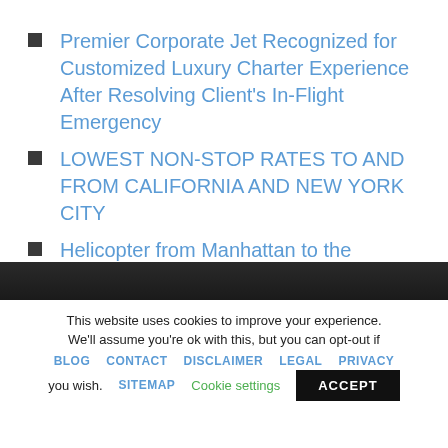Premier Corporate Jet Recognized for Customized Luxury Charter Experience After Resolving Client's In-Flight Emergency
LOWEST NON-STOP RATES TO AND FROM CALIFORNIA AND NEW YORK CITY
Helicopter from Manhattan to the Hamptons
Charter Plane to Your Favorite Golf Destination
Private Jet Club Membership Launch
This website uses cookies to improve your experience. We'll assume you're ok with this, but you can opt-out if you wish.
BLOG   CONTACT   DISCLAIMER   LEGAL   PRIVACY   SITEMAP   Cookie settings   ACCEPT